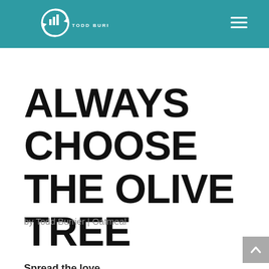TODD BURRIER
ALWAYS CHOOSE THE OLIVE TREE
by Todd Burrier | Oatmeal
Spread the love